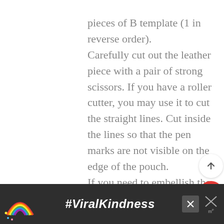pieces of B template (1 in reverse order). Carefully cut out the leather piece with a pair of strong scissors. If you have a roller cutter, you may use it to cut the straight lines. Cut inside the lines so that the pen marks are not visible on the edge of the pouch. If you need to embellish the sleeve with charm, you may do it now. Doing it after the sewing-up is still possible but will be more dif...
[Figure (screenshot): UI floating buttons: up arrow, red heart, share button]
[Figure (screenshot): What's Next promo card: Leather Coin Purse - Free...]
[Figure (photo): Photo strip showing teal/blue leather crafting materials]
[Figure (screenshot): Ad banner: rainbow illustration, #ViralKindness text, close button, logo]